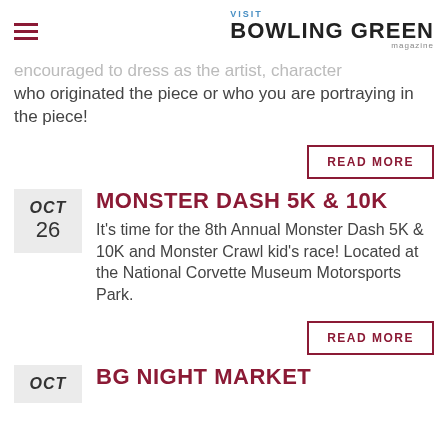VISIT BOWLING GREEN
encouraged to dress as the artist, character who originated the piece or who you are portraying in the piece!
READ MORE
MONSTER DASH 5K & 10K
It's time for the 8th Annual Monster Dash 5K & 10K and Monster Crawl kid's race! Located at the National Corvette Museum Motorsports Park.
READ MORE
BG NIGHT MARKET